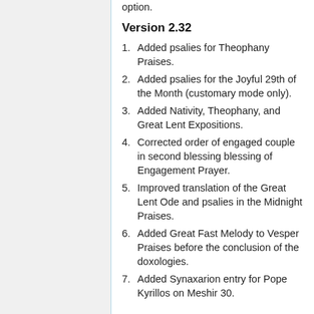option.
Version 2.32
Added psalies for Theophany Praises.
Added psalies for the Joyful 29th of the Month (customary mode only).
Added Nativity, Theophany, and Great Lent Expositions.
Corrected order of engaged couple in second blessing blessing of Engagement Prayer.
Improved translation of the Great Lent Ode and psalies in the Midnight Praises.
Added Great Fast Melody to Vesper Praises before the conclusion of the doxologies.
Added Synaxarion entry for Pope Kyrillos on Meshir 30.